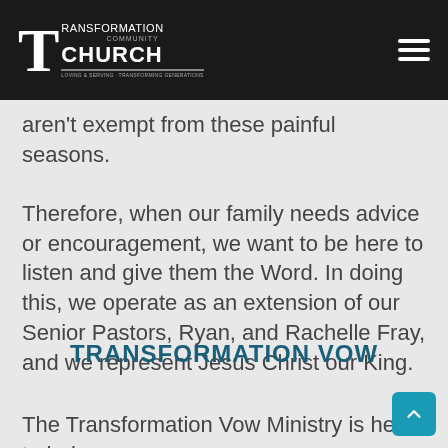Transformation Community Church
aren't exempt from these painful seasons. Therefore, when our family needs advice or encouragement, we want to be here to listen and give them the Word. In doing this, we operate as an extension of our Senior Pastors, Ryan, and Rachelle Fray, and we represent Jesus Christ our King.
TRANSFORMATION VOW
The Transformation Vow Ministry is here to help